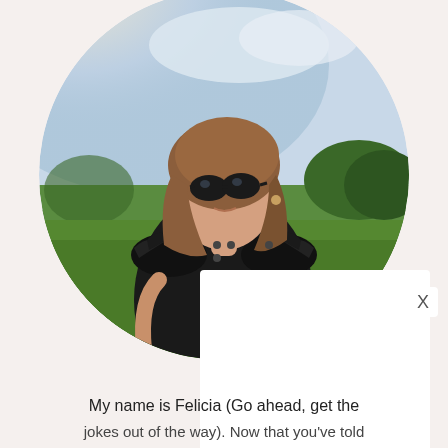[Figure (photo): Circular cropped photo of a woman with shoulder-length brown hair wearing sunglasses and a black ruffled sleeveless top, standing in a grassy field with a bright sky in the background. A white overlay card partially covers the lower-right portion of the circle.]
My name is Felicia (Go ahead, get the jokes out of the way). Now that you've told